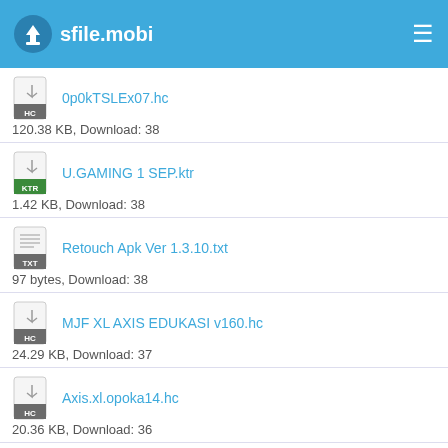sfile.mobi
0p0kTSLEx07.hc
120.38 KB, Download: 38
U.GAMING 1 SEP.ktr
1.42 KB, Download: 38
Retouch Apk Ver 1.3.10.txt
97 bytes, Download: 38
MJF XL AXIS EDUKASI v160.hc
24.29 KB, Download: 37
Axis.xl.opoka14.hc
20.36 KB, Download: 36
TSEL OPOK FNC-52.ehi